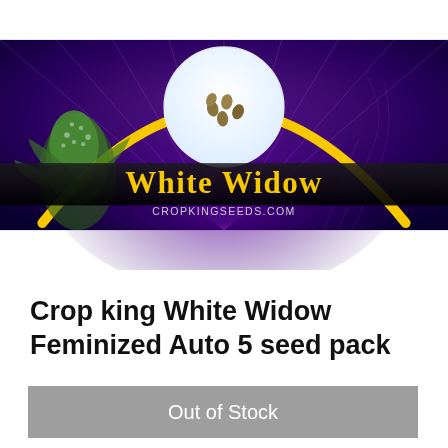[Figure (photo): Product packaging photo for Crop King White Widow Feminized Auto seeds. Shows a purple and blue background with a yellow arc design, a white circle in the center containing brown seeds, a cannabis bud on the left side, and the text 'White Widow' in gold letters with 'CROPKINGSEEDS.COM' below it.]
Crop king White Widow Feminized Auto 5 seed pack
$55.00
Out of Stock